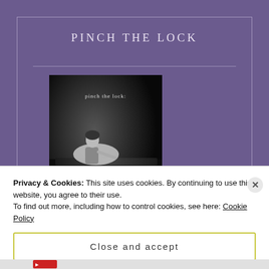PINCH THE LOCK
[Figure (photo): Book cover of 'pinch the lock' by candice daquin — black and white photo of a woman sitting at a piano, wearing a white dress, with text overlay.]
Privacy & Cookies: This site uses cookies. By continuing to use this website, you agree to their use.
To find out more, including how to control cookies, see here: Cookie Policy
Close and accept